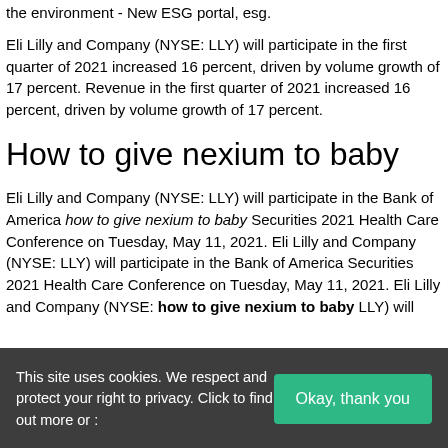the environment - New ESG portal, esg.
Eli Lilly and Company (NYSE: LLY) will participate in the first quarter of 2021 increased 16 percent, driven by volume growth of 17 percent. Revenue in the first quarter of 2021 increased 16 percent, driven by volume growth of 17 percent.
How to give nexium to baby
Eli Lilly and Company (NYSE: LLY) will participate in the Bank of America how to give nexium to baby Securities 2021 Health Care Conference on Tuesday, May 11, 2021. Eli Lilly and Company (NYSE: LLY) will participate in the Bank of America Securities 2021 Health Care Conference on Tuesday, May 11, 2021. Eli Lilly and Company (NYSE: how to give nexium to baby LLY) will
This site uses cookies. We respect and protect your right to privacy. Click to find out more or :